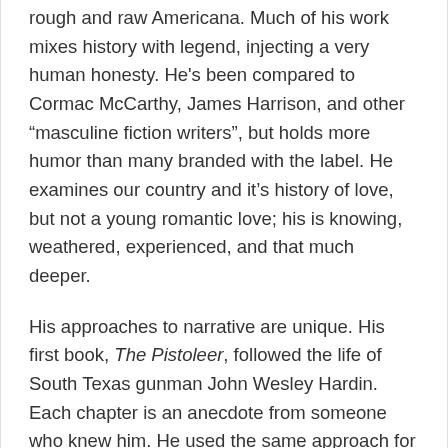rough and raw Americana. Much of his work mixes history with legend, injecting a very human honesty. He's been compared to Cormac McCarthy, James Harrison, and other “masculine fiction writers”, but holds more humor than many branded with the label. He examines our country and it’s history of love, but not a young romantic love; his is knowing, weathered, experienced, and that much deeper.
His approaches to narrative are unique. His first book, The Pistoleer, followed the life of South Texas gunman John Wesley Hardin. Each chapter is an anecdote from someone who knew him. He used the same approach for his next book, The Friends Of Pancho Villa. The life of Handsome Harry is told through several “confessions” by John Dillinger’s partner that are often hilarious.